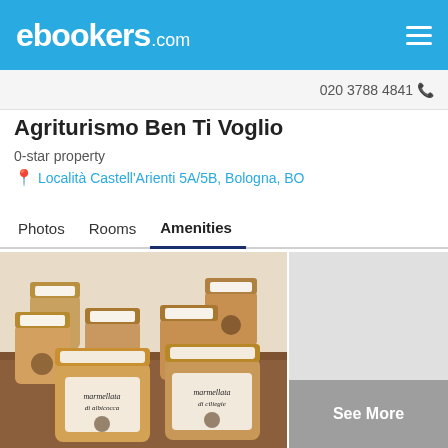ebookers.com
020 3788 4841
Agriturismo Ben Ti Voglio
0-star property
Località Castell'Arienti 5A/5B, Bologna, BO
Photos  Rooms  Amenities
[Figure (photo): Photo of jam jars labeled 'marmellata di albicocca' and 'marmellata di ciliegie' stacked on a table]
See More